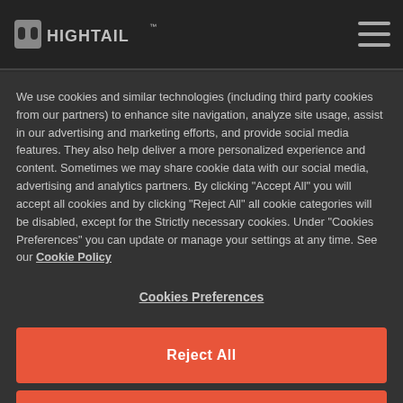Hightail — navigation bar with logo and hamburger menu
We use cookies and similar technologies (including third party cookies from our partners) to enhance site navigation, analyze site usage, assist in our advertising and marketing efforts, and provide social media features. They also help deliver a more personalized experience and content. Sometimes we may share cookie data with our social media, advertising and analytics partners. By clicking "Accept All" you will accept all cookies and by clicking "Reject All" all cookie categories will be disabled, except for the Strictly necessary cookies. Under "Cookies Preferences" you can update or manage your settings at any time. See our Cookie Policy
Cookies Preferences
Reject All
Accept All